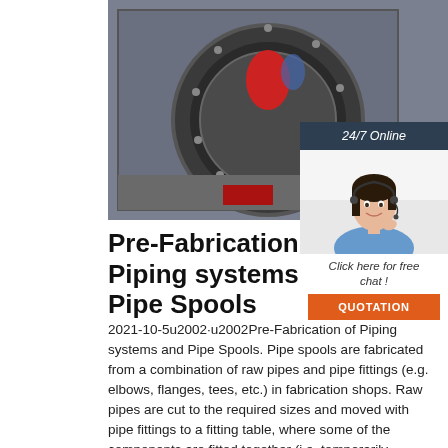[Figure (photo): Industrial machinery photo showing a large circular pipe or vessel opening mounted in a metal enclosure, viewed from the front with a red element visible inside the circular opening.]
[Figure (infographic): Sidebar widget with dark blue header reading '24/7 Online', image of a smiling woman with a headset, text 'Click here for free chat!' and an orange button reading 'QUOTATION'.]
Pre-Fabrication of Piping systems and Pipe Spools
2021-10-5u2002·u2002Pre-Fabrication of Piping systems and Pipe Spools. Pipe spools are fabricated from a combination of raw pipes and pipe fittings (e.g. elbows, flanges, tees, etc.) in fabrication shops. Raw pipes are cut to the required sizes and moved with pipe fittings to a fitting table, where some of the components are fitted together (i.e. temporarily connected).